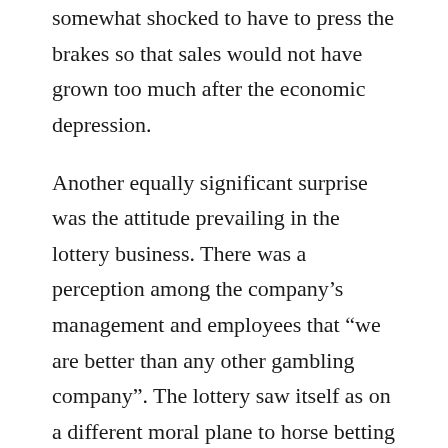somewhat shocked to have to press the brakes so that sales would not have grown too much after the economic depression.
Another equally significant surprise was the attitude prevailing in the lottery business. There was a perception among the company’s management and employees that “we are better than any other gambling company”. The lottery saw itself as on a different moral plane to horse betting and casino operators. Pretty quickly, that attitude fixed itself in my mind too.
When I was involved in international cooperation between lotteries, I noticed this attitude was global, and not just a Finnish specialty. The lotteries organized, and continue to hold, an annual congress that brought